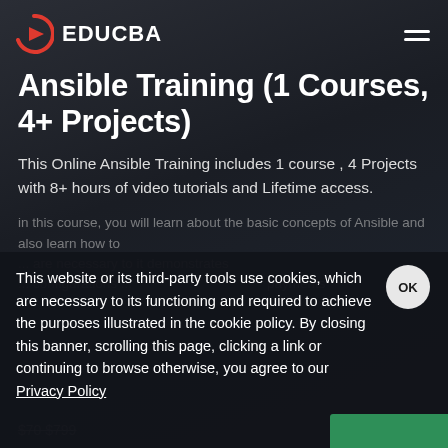[Figure (logo): EDUCBA logo with red/orange play button icon and white text EDUCBA]
Ansible Training (1 Courses, 4+ Projects)
This Online Ansible Training includes 1 course , 4 Projects with 8+ hours of video tutorials and Lifetime access.
In this course, you will learn about the basic concepts of Ansible and also learn how to... demonstrates ... configurations ... payments
This website or its third-party tools use cookies, which are necessary to its functioning and required to achieve the purposes illustrated in the cookie policy. By closing this banner, scrolling this page, clicking a link or continuing to browse otherwise, you agree to our Privacy Policy